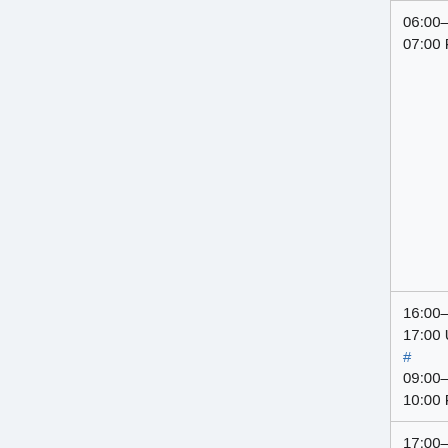| Time | Event | People |
| --- | --- | --- |
| 06:00–07:00 PDT | Version | (Twen... |
| 16:00–17:00 UTC # 09:00–10:00 PDT | Puppet SWAT (Max 6 patches) | Filippo Giuseppe |
| 17:00–18:00 UTC # 10:00–11:00 PDT | Services – Graphoid / Citoid / ORES | Aaron ( Andy (a |
| 18:00–19:00 UTC # 11:00– | Morning SWAT (Max 6 patches) | Roan (Roank Nihariк (Nihar |